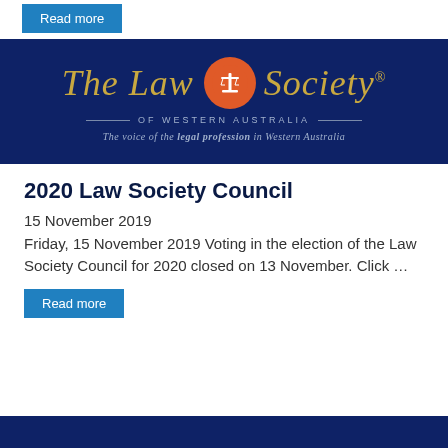Read more
[Figure (logo): The Law Society of Western Australia logo on dark navy background. Gold italic serif text reads 'The Law Society.' with an orange circular emblem featuring scales of justice. Below: 'OF WESTERN AUSTRALIA' in spaced caps with decorative rules, and tagline 'The voice of the legal profession in Western Australia' in italic.]
2020 Law Society Council
15 November 2019
Friday, 15 November 2019 Voting in the election of the Law Society Council for 2020 closed on 13 November. Click …
Read more
[Figure (other): Dark navy blue banner at the bottom of the page.]